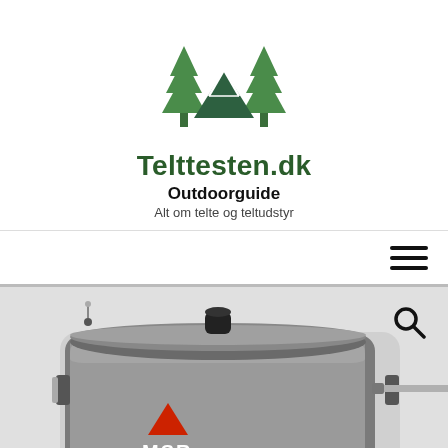[Figure (logo): Telttesten.dk logo with green pine trees and a tent shape above the site name]
Telttesten.dk
Outdoorguide
Alt om telte og teltudstyr
[Figure (other): Hamburger menu icon (three horizontal lines) in the nav bar]
[Figure (photo): MSR camping cookpot with lid and side handle, titanium colored with MSR red triangle logo]
We use cookies on our website to give you the most relevant experience by remembering your preferences and repeat visits. By